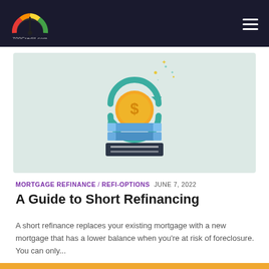700Credit.com
[Figure (illustration): Illustration of a dollar coin with circular arrows indicating refinancing, sitting atop a stack of blue and dark books/cards, on a light green background.]
MORTGAGE REFINANCE / REFI-OPTIONS  JUNE 7, 2022
A Guide to Short Refinancing
A short refinance replaces your existing mortgage with a new mortgage that has a lower balance when you're at risk of foreclosure. You can only...